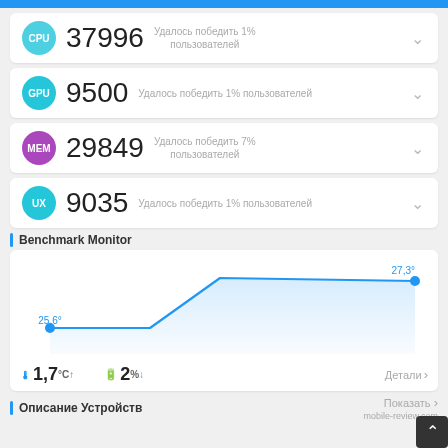[Figure (screenshot): Benchmark app results showing CPU: 37996, GPU: 9500, MEM: 29849, UX: 9035 scores with percentile info]
Benchmark Monitor
[Figure (line-chart): Temperature Monitor]
🌡 1,7°C↑   🔋 2%↓   Детали >
Описание Устройств
Показать > mobile-review.com